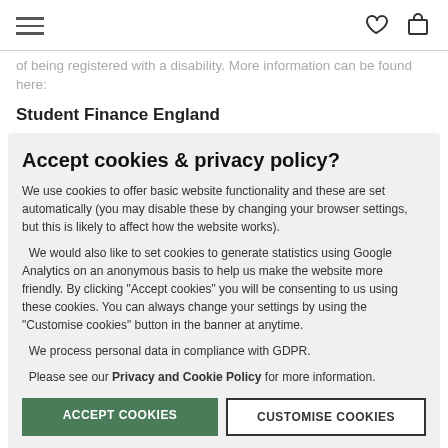Navigation header with hamburger menu, heart icon, and bag icon
of being registered with a disability. More information can be found here:
Student Finance England
Scholarships and bursaries
Accept cookies & privacy policy?
We use cookies to offer basic website functionality and these are set automatically (you may disable these by changing your browser settings, but this is likely to affect how the website works).
We would also like to set cookies to generate statistics using Google Analytics on an anonymous basis to help us make the website more friendly. By clicking "Accept cookies" you will be consenting to us using these cookies. You can always change your settings by using the "Customise cookies" button in the banner at anytime.
We process personal data in compliance with GDPR.
Please see our Privacy and Cookie Policy for more information.
Part time student work
Many students top up their student finance by working part-time around their studies. Lot's of universities have flexible student ambassador roles where you can earn money alongside studying
TOP TIP: